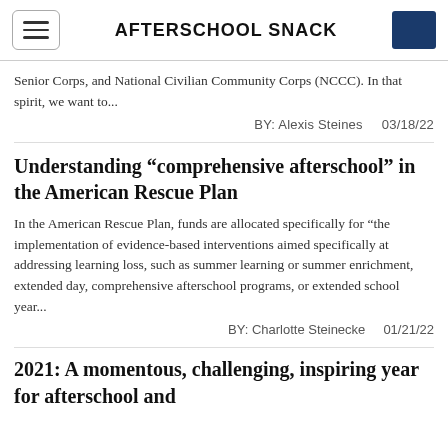AFTERSCHOOL SNACK
Senior Corps, and National Civilian Community Corps (NCCC). In that spirit, we want to...
BY: Alexis Steines    03/18/22
Understanding “comprehensive afterschool” in the American Rescue Plan
In the American Rescue Plan, funds are allocated specifically for “the implementation of evidence-based interventions aimed specifically at addressing learning loss, such as summer learning or summer enrichment, extended day, comprehensive afterschool programs, or extended school year...
BY: Charlotte Steinecke    01/21/22
2021: A momentous, challenging, inspiring year for afterschool and...